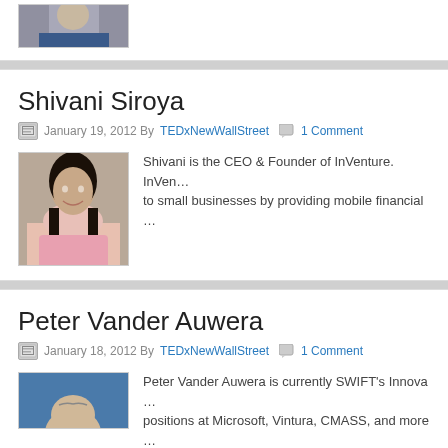[Figure (photo): Partial portrait photo of a man in a suit, cropped at top of page]
Shivani Siroya
January 19, 2012 By TEDxNewWallStreet  1 Comment
[Figure (photo): Portrait photo of Shivani Siroya, a woman with long dark hair, smiling, wearing a pink top]
Shivani is the CEO & Founder of InVenture. InVer... to small businesses by providing mobile financial...
Peter Vander Auwera
January 18, 2012 By TEDxNewWallStreet  1 Comment
[Figure (photo): Partial portrait photo of Peter Vander Auwera, a man, against a blue background]
Peter Vander Auwera is currently SWIFT's Innova... positions at Microsoft, Vintura, CMASS, and more...